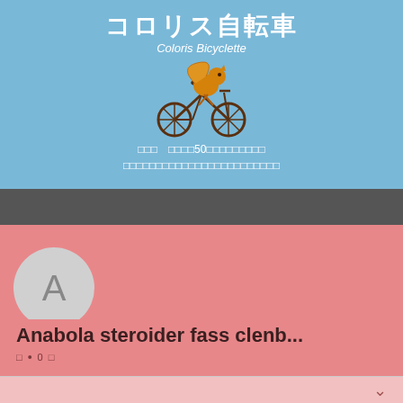コロリス自転車 / Coloris Bicyclette
[Figure (illustration): Cartoon squirrel riding a bicycle, illustrated in orange/brown colors on a blue background]
□□□　□□□□50□□□□□□□□□□□□□□□□□□□□□□□□□□□□□□□□□□□□□
[Figure (screenshot): Social media profile UI section with avatar circle showing letter A, two outline buttons with Japanese text, and three-dot menu on dark gray background transitioning to pink]
Anabola steroider fass clenb...
□  • 0  □